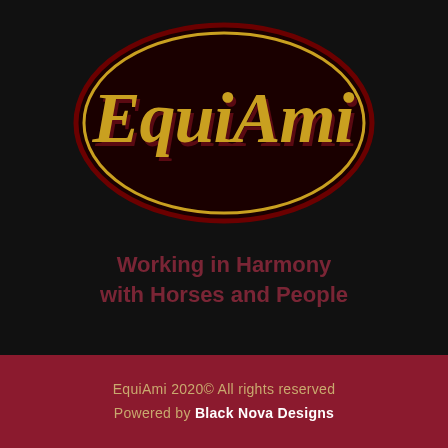[Figure (logo): EquiAmi logo: oval shape with dark red outline and golden inner oval border on black background, with the text 'EquiAmi' in golden/yellow serif italic lettering with dark red shadow effect]
Working in Harmony with Horses and People
EquiAmi 2020© All rights reserved
Powered by Black Nova Designs